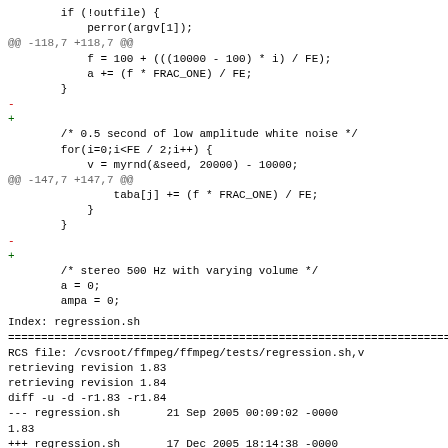Code diff showing changes to ffmpeg source files including addition of white noise and stereo 500 Hz sections, followed by regression.sh index header
Index: regression.sh
==============================
RCS file: /cvsroot/ffmpeg/ffmpeg/tests/regression.sh,v
retrieving revision 1.83
retrieving revision 1.84
diff -u -d -r1.83 -r1.84
--- regression.sh      21 Sep 2005 00:09:02 -0000
1.83
+++ regression.sh      17 Dec 2005 18:14:38 -0000